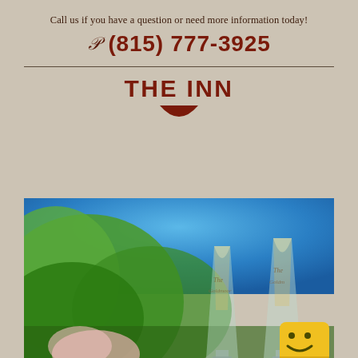Call us if you have a question or need more information today!
𝒫  (815) 777-3925
THE INN
[Figure (photo): Two champagne flutes with 'The Goldmoor' engraved text, outdoors with blurred green trees and blue sky background, with a pink flower in the foreground.]